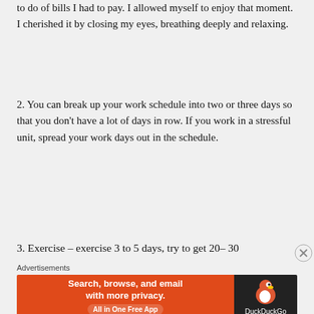to do of bills I had to pay. I allowed myself to enjoy that moment. I cherished it by closing my eyes, breathing deeply and relaxing.
2. You can break up your work schedule into two or three days so that you don't have a lot of days in row. If you work in a stressful unit, spread your work days out in the schedule.
3. Exercise – exercise 3 to 5 days, try to get 20–30
Advertisements
[Figure (other): DuckDuckGo advertisement banner: 'Search, browse, and email with more privacy. All in One Free App' with DuckDuckGo logo on dark background.]